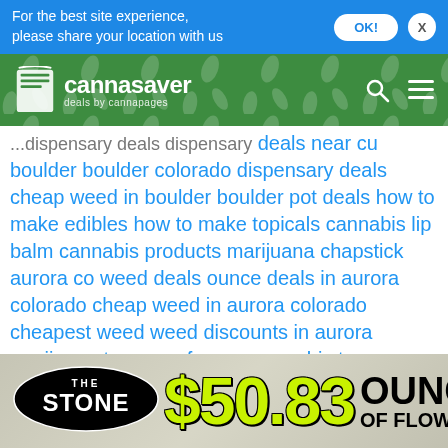For the best site experience, please share your location with us
[Figure (logo): Cannasaver deals by cannapages logo on green background header]
deals near cu boulder boulder colorado dispensary deals cheap weed in boulder boulder pot deals how to make edibles how to make topicals cannabis lip balm cannabis products marijuana chapstick aurora co weed deals ounce deals in aurora colorado cheap weed in aurora colorado cheapest weed weed discounts in aurora marijuana terpenes for sex cannabis terpenes you should know what are cannabis terpenes what are terpenoids cannabis terpenes for sale capitol hill weed deals capitol hill dispensary discounts north denver weed deals north denver dispensary discounts discounts at local dispensaries dispensary ounce deals dispensary coupons near me medical marijuana ounce deal cheap weed deals
[Figure (advertisement): The Stone dispensary ad banner showing $50.83 ounce of flower deal]